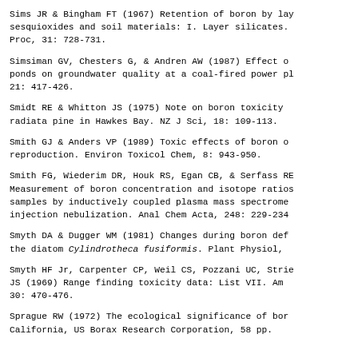Sims JR & Bingham FT (1967) Retention of boron by layer silicates, sesquioxides and soil materials: I. Layer silicates. Soil Sci Soc Am Proc, 31: 728-731.
Simsiman GV, Chesters G, & Andren AW (1987) Effect of fly ash ponds on groundwater quality at a coal-fired power plant. Water Res, 21: 417-426.
Smidt RE & Whitton JS (1975) Note on boron toxicity in radiata pine in Hawkes Bay. NZ J Sci, 18: 109-113.
Smith GJ & Anders VP (1989) Toxic effects of boron on mallard reproduction. Environ Toxicol Chem, 8: 943-950.
Smith FG, Wiederim DR, Houk RS, Egan CB, & Serfass RE (1991) Measurement of boron concentration and isotope ratios in biological samples by inductively coupled plasma mass spectrometry with flow injection nebulization. Anal Chem Acta, 248: 229-234.
Smyth DA & Dugger WM (1981) Changes during boron deficiency in the diatom Cylindrotheca fusiformis. Plant Physiol,
Smyth HF Jr, Carpenter CP, Weil CS, Pozzani UC, Striegel JA, & Nycum JS (1969) Range finding toxicity data: List VII. Am Ind Hyg Assoc J, 30: 470-476.
Sprague RW (1972) The ecological significance of boron. Borax, California, US Borax Research Corporation, 58 pp.